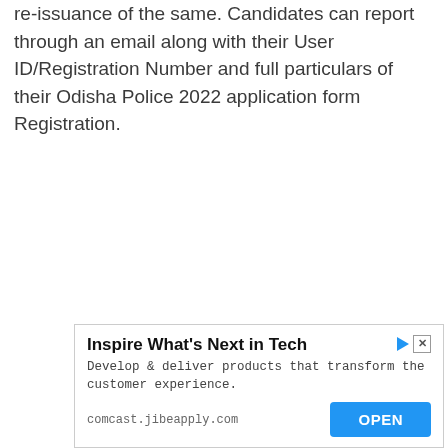re-issuance of the same. Candidates can report through an email along with their User ID/Registration Number and full particulars of their Odisha Police 2022 application form Registration.
[Figure (screenshot): Advertisement banner for Comcast/jibeapply.com with title 'Inspire What's Next in Tech', body text 'Develop & deliver products that transform the customer experience.', URL 'comcast.jibeapply.com', and an OPEN button.]